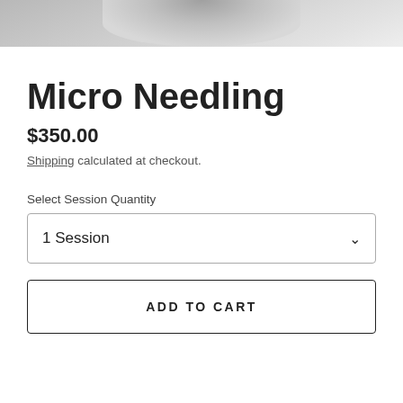[Figure (photo): Cropped grayscale photo of a person's face/neck area, showing the top portion of the image.]
Micro Needling
$350.00
Shipping calculated at checkout.
Select Session Quantity
1 Session
ADD TO CART